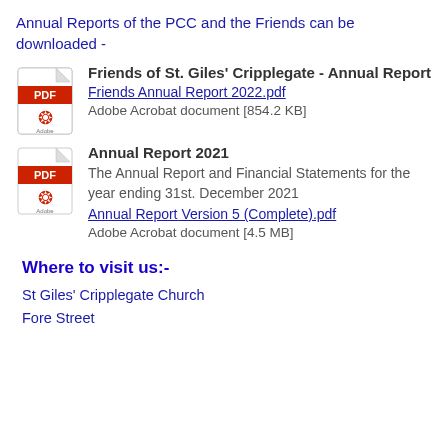Annual Reports of the PCC and the Friends can be downloaded -
[Figure (other): PDF icon for Friends of St. Giles' Cripplegate Annual Report]
Friends of St. Giles' Cripplegate - Annual Report
Friends Annual Report 2022.pdf
Adobe Acrobat document [854.2 KB]
[Figure (other): PDF icon for Annual Report 2021]
Annual Report 2021
The Annual Report and Financial Statements for the year ending 31st. December 2021
Annual Report Version 5 (Complete).pdf
Adobe Acrobat document [4.5 MB]
Where to visit us:-
St Giles' Cripplegate Church
Fore Street